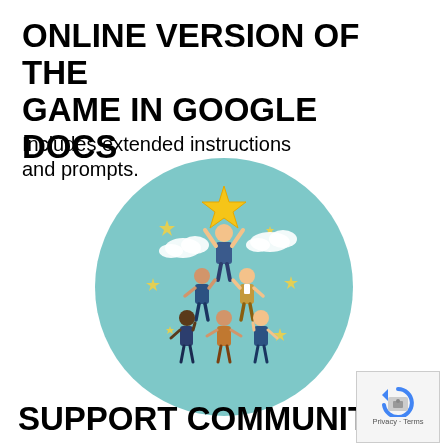ONLINE VERSION OF THE GAME IN GOOGLE DOCS
Includes extended instructions and prompts.
[Figure (illustration): A circular teal illustration showing a human pyramid of business people in suits. The person at the top holds a large gold star above their head. Small gold stars and white clouds decorate the background inside the circle.]
SUPPORT COMMUNITY